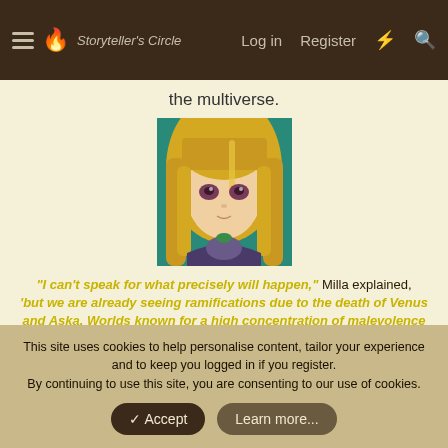Storyteller's Circle — Log in  Register
the multiverse.
[Figure (illustration): Anime-style character with long blonde hair and purple eyes against a teal background]
"I can't speak for what precisely will happen," Milla explained, 'but we are already seeing ramifications due to the death of Venus and Aska. Worlds known for a high concentration of malevolence are going out of control.'
"Our people stationed at Ragnarok are reporting that the
This site uses cookies to help personalise content, tailor your experience and to keep you logged in if you register.
By continuing to use this site, you are consenting to our use of cookies.